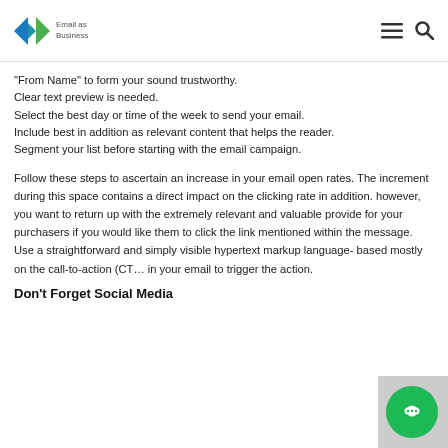Email as Business
“From Name” to form your sound trustworthy.
Clear text preview is needed.
Select the best day or time of the week to send your email.
Include best in addition as relevant content that helps the reader.
Segment your list before starting with the email campaign.
Follow these steps to ascertain an increase in your email open rates. The increment during this space contains a direct impact on the clicking rate in addition. however, you want to return up with the extremely relevant and valuable provide for your purchasers if you would like them to click the link mentioned within the message. Use a straightforward and simply visible hypertext markup language- based mostly on the call-to-action (CT... in your email to trigger the action.
Don’t Forget Social Media